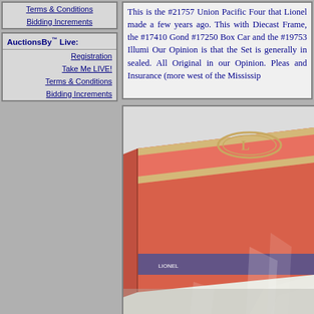Terms & Conditions
Bidding Increments
AuctionsBy™ Live:
Registration
Take Me LIVE!
Terms & Conditions
Bidding Increments
This is the #21757 Union Pacific Four that Lionel made a few years ago. This with Diecast Frame, the #17410 Gond #17250 Box Car and the #19753 Illumi Our Opinion is that the Set is generally in sealed. All Original in our Opinion. Pleas and Insurance (more west of the Mississip
[Figure (photo): Photo of a boxed Lionel train set in an orange/red box sealed in plastic wrap, shown from an angle on a light-colored surface.]